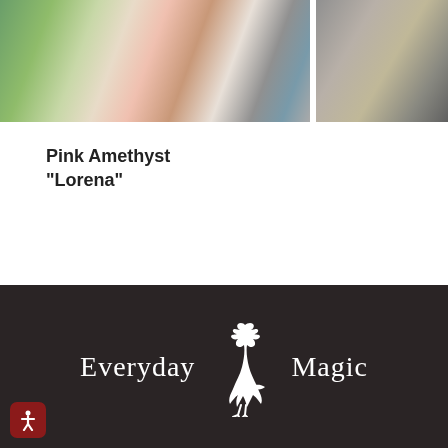[Figure (photo): Product photo showing a hand holding a pink amethyst crystal and a store display of crystals/minerals in background. Partial view of another product photo on the right.]
Pink Amethyst "Lorena"
$174.00
Pink Amethyst "Leah"
[Figure (logo): Everyday Magic logo with a white crow/raven silhouette on a dark brown/black background. Text reads 'Everyday Magic' in serif font flanking the bird.]